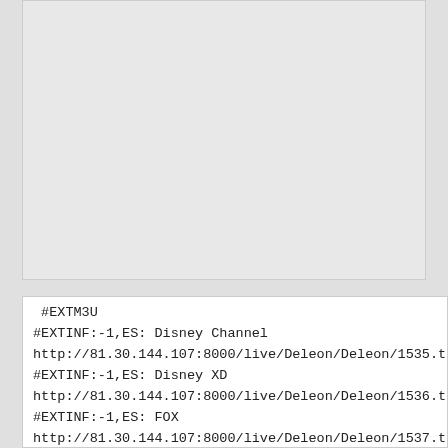[Figure (other): Empty light gray box representing upper portion of document page content area]
#EXTM3U
#EXTINF:-1,ES: Disney Channel
http://81.30.144.107:8000/live/Deleon/Deleon/1535.ts
#EXTINF:-1,ES: Disney XD
http://81.30.144.107:8000/live/Deleon/Deleon/1536.ts
#EXTINF:-1,ES: FOX
http://81.30.144.107:8000/live/Deleon/Deleon/1537.ts
#EXTINF:-1,ES: FOX Life